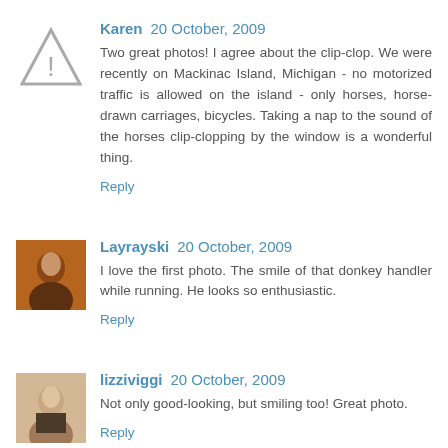Karen 20 October, 2009
Two great photos! I agree about the clip-clop. We were recently on Mackinac Island, Michigan - no motorized traffic is allowed on the island - only horses, horse-drawn carriages, bicycles. Taking a nap to the sound of the horses clip-clopping by the window is a wonderful thing.
Reply
Layrayski 20 October, 2009
I love the first photo. The smile of that donkey handler while running. He looks so enthusiastic.
Reply
lizziviggi 20 October, 2009
Not only good-looking, but smiling too! Great photo.
Reply